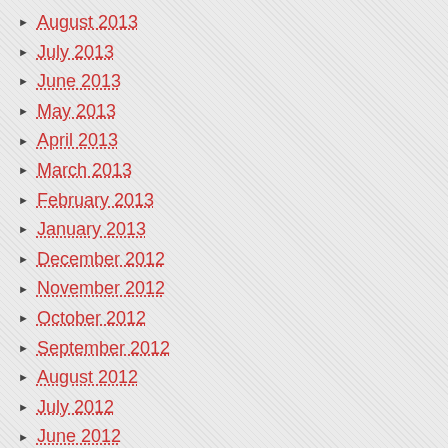August 2013
July 2013
June 2013
May 2013
April 2013
March 2013
February 2013
January 2013
December 2012
November 2012
October 2012
September 2012
August 2012
July 2012
June 2012
May 2012
April 2012